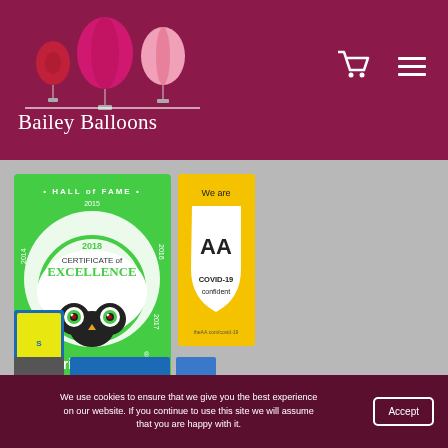[Figure (logo): Bailey Balloons logo with colorful hot air balloons (pink, magenta, white) above the text 'Bailey Balloons' on a dark magenta/maroon header background]
[Figure (logo): TripAdvisor Hall of Fame Certificate of Excellence 2018 badge (2014-2017 years listed) on green background with owl icon]
[Figure (logo): AA COVID-19 Confident badge on yellow background with shield shape]
[Figure (logo): Small blue/yellow badge at bottom left of content area]
We use cookies to ensure that we give you the best experience on our website. If you continue to use this site we will assume that you are happy with it.